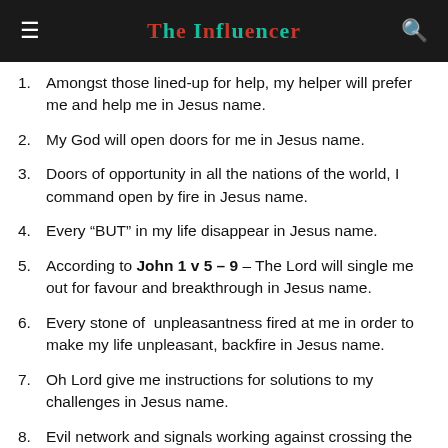The Influencer
Amongst those lined-up for help, my helper will prefer me and help me in Jesus name.
My God will open doors for me in Jesus name.
Doors of opportunity in all the nations of the world, I command open by fire in Jesus name.
Every “BUT” in my life disappear in Jesus name.
According to John 1 v 5 – 9 – The Lord will single me out for favour and breakthrough in Jesus name.
Every stone of  unpleasantness fired at me in order to make my life unpleasant, backfire in Jesus name.
Oh Lord give me instructions for solutions to my challenges in Jesus name.
Evil network and signals working against crossing the